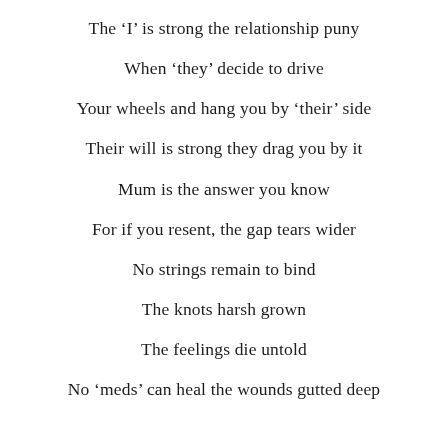The ‘I’ is strong the relationship puny
When ‘they’ decide to drive
Your wheels and hang you by ‘their’ side
Their will is strong they drag you by it
Mum is the answer you know
For if you resent, the gap tears wider
No strings remain to bind
The knots harsh grown
The feelings die untold
No ‘meds’ can heal the wounds gutted deep